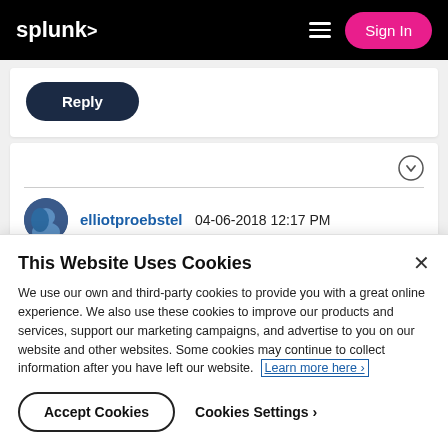splunk> Sign In
[Figure (screenshot): Reply button in dark navy pill shape]
[Figure (screenshot): Comment card with chevron-circle, divider, avatar, username elliotproebstel and date 04-06-2018 12:17 PM]
This Website Uses Cookies
We use our own and third-party cookies to provide you with a great online experience. We also use these cookies to improve our products and services, support our marketing campaigns, and advertise to you on our website and other websites. Some cookies may continue to collect information after you have left our website. Learn more here ›
Accept Cookies   Cookies Settings ›